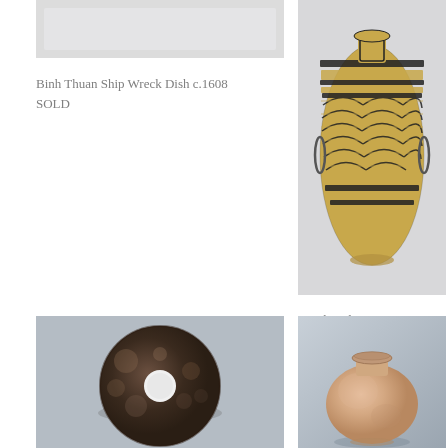[Figure (photo): Partial view of a ceramic dish, light gray background, top portion only visible]
Binh Thuan Ship Wreck Dish c.1608
SOLD
[Figure (photo): Greek Helenistic core formed glass amphoriskos with black and gold feathered/combed pattern decoration on white background]
Greek Helenistic core formed Glass Amphoriskos
[Figure (photo): Dark brown circular jade or stone disc with a central hole (bi disc), mottled texture, on gray-blue background]
[Figure (photo): Round terracotta/clay pot or jar with short neck and flared rim, beige/salmon color, on blue-gray background]